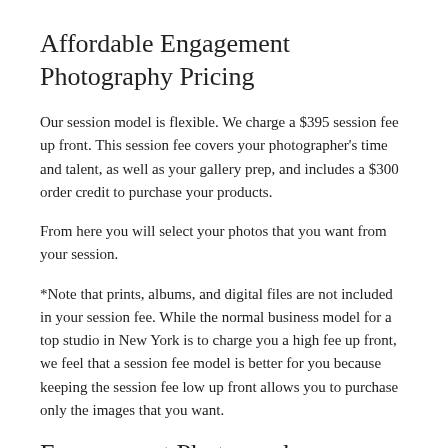Affordable Engagement Photography Pricing
Our session model is flexible. We charge a $395 session fee up front. This session fee covers your photographer's time and talent, as well as your gallery prep, and includes a $300 order credit to purchase your products.
From here you will select your photos that you want from your session.
*Note that prints, albums, and digital files are not included in your session fee. While the normal business model for a top studio in New York is to charge you a high fee up front, we feel that a session fee model is better for you because keeping the session fee low up front allows you to purchase only the images that you want.
Engagement Photography Locations